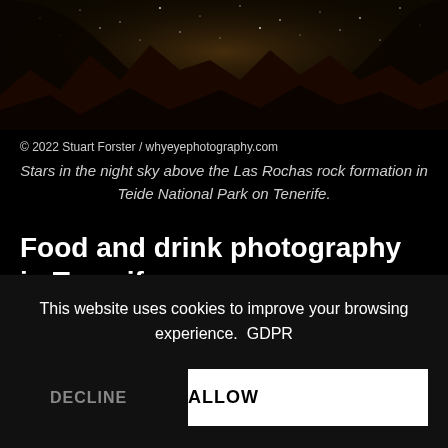[Figure (photo): Night sky with stars above silhouetted mountain/rock formations — Las Rochas rock formation in Teide National Park on Tenerife]
© 2022 Stuart Forster / whyeyephotography.com
Stars in the night sky above the Las Rochas rock formation in Teide National Park on Tenerife.
Food and drink photography in Tenerife
The closing event of the conference was held at La Gañanía, a hillside event space with a vast terrace overlooking Puerto de la Cruz.
This website uses cookies to improve your browsing experience. GDPR
DECLINE
ALLOW